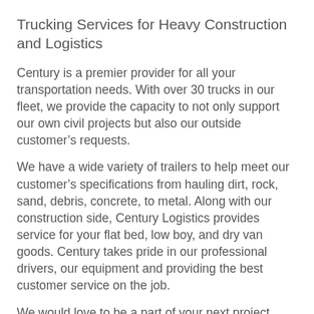Trucking Services for Heavy Construction and Logistics
Century is a premier provider for all your transportation needs. With over 30 trucks in our fleet, we provide the capacity to not only support our own civil projects but also our outside customer’s requests.
We have a wide variety of trailers to help meet our customer’s specifications from hauling dirt, rock, sand, debris, concrete, to metal. Along with our construction side, Century Logistics provides service for your flat bed, low boy, and dry van goods. Century takes pride in our professional drivers, our equipment and providing the best customer service on the job.
We would love to be a part of your next project.